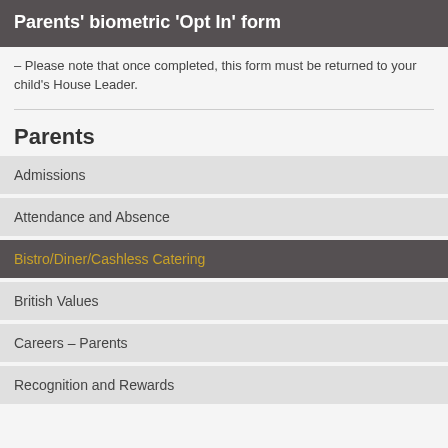Parents' biometric 'Opt In' form
– Please note that once completed, this form must be returned to your child's House Leader.
Parents
Admissions
Attendance and Absence
Bistro/Diner/Cashless Catering
British Values
Careers – Parents
Recognition and Rewards